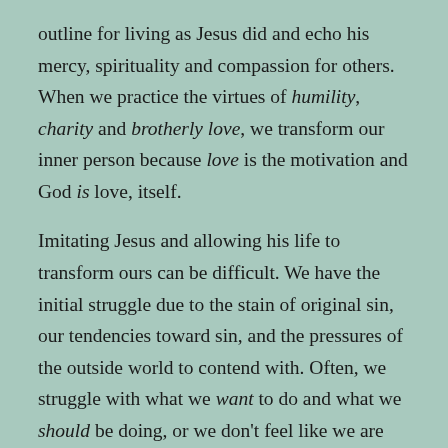outline for living as Jesus did and echo his mercy, spirituality and compassion for others. When we practice the virtues of humility, charity and brotherly love, we transform our inner person because love is the motivation and God is love, itself.
Imitating Jesus and allowing his life to transform ours can be difficult. We have the initial struggle due to the stain of original sin, our tendencies toward sin, and the pressures of the outside world to contend with. Often, we struggle with what we want to do and what we should be doing, or we don't feel like we are progressing on our spiritual journey because we aren't sensing any consolation after a trial or we dont have any feelings of closeness from Our Lord.  In the book, " The Fulfillment of All Desire," Ralph Martin says, "When we start looking for or seeking a